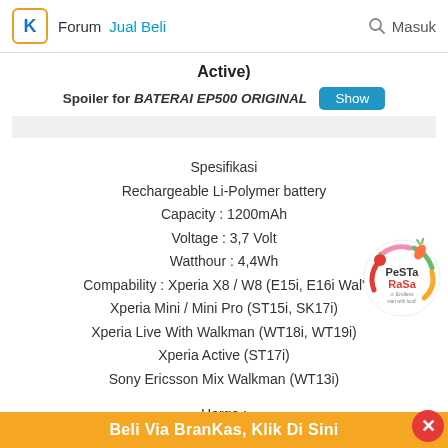Forum  Jual Beli  Masuk
Active)
Spoiler for BATERAI EP500 ORIGINAL  Show
Spesifikasi
Rechargeable Li-Polymer battery
Capacity : 1200mAh
Voltage : 3,7 Volt
Watthour : 4,4Wh
Compability : Xperia X8 / W8 (E15i, E16i Wal'
Xperia Mini / Mini Pro (ST15i, SK17i)
Xperia Live With Walkman (WT18i, WT19i)
Xperia Active (ST17i)
Sony Ericsson Mix Walkman (WT13i)
[Figure (logo): Pesta Rasa logo — circular badge with vegetables and 'start with food' tagline]
Harga :
Rp. 70000,-
Beli Via BranKas, Klik Di Sini